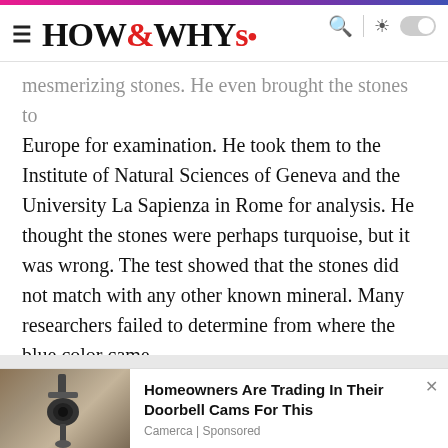HOW&WHYs
mesmerizing stones. He even brought the stones to Europe for examination. He took them to the Institute of Natural Sciences of Geneva and the University La Sapienza in Rome for analysis. He thought the stones were perhaps turquoise, but it was wrong. The test showed that the stones did not match with any other known mineral. Many researchers failed to determine from where the blue color came.
[Figure (photo): Outdoor wall-mounted security camera or lamp on a stone wall, shown in an advertisement panel]
Homeowners Are Trading In Their Doorbell Cams For This
Camerca | Sponsored